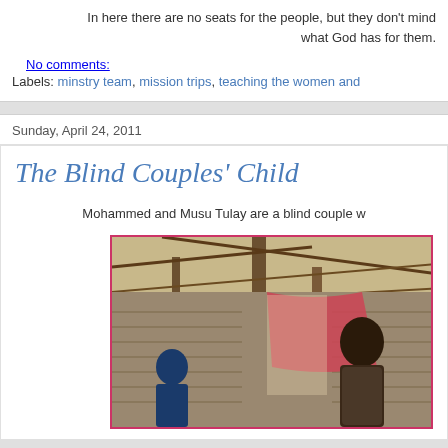In here there are no seats for the people, but they don't mind what God has for them.
No comments:
Labels: minstry team, mission trips, teaching the women and
Sunday, April 24, 2011
The Blind Couples' Child
Mohammed and Musu Tulay are a blind couple w
[Figure (photo): A person standing inside a rustic structure with wooden poles and a woven/thatched roof, with a red fabric visible in the background]